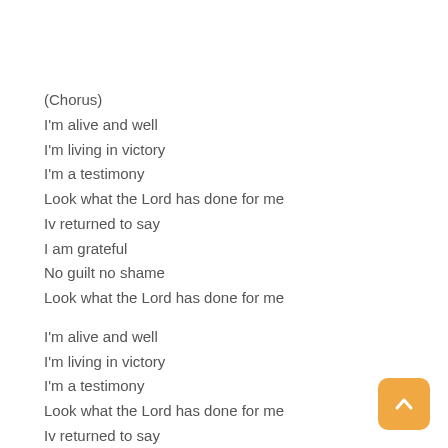(Chorus)
I'm alive and well
I'm living in victory
I'm a testimony
Look what the Lord has done for me
Iv returned to say
I am grateful
No guilt no shame
Look what the Lord has done for me

I'm alive and well
I'm living in victory
I'm a testimony
Look what the Lord has done for me
Iv returned to say
I am grateful
No guilt no shame